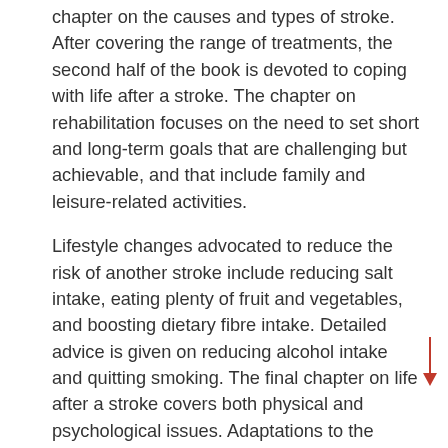chapter on the causes and types of stroke. After covering the range of treatments, the second half of the book is devoted to coping with life after a stroke. The chapter on rehabilitation focuses on the need to set short and long-term goals that are challenging but achievable, and that include family and leisure-related activities.
Lifestyle changes advocated to reduce the risk of another stroke include reducing salt intake, eating plenty of fruit and vegetables, and boosting dietary fibre intake. Detailed advice is given on reducing alcohol intake and quitting smoking. The final chapter on life after a stroke covers both physical and psychological issues. Adaptations to the bathroom can make maintaining hygiene easier, and advice is given on dealing with fatigue and anxiety. Organisations relevant to stroke care are listed, together with their websites, and references to the clinical literature are provided, enabling the reader to explore specific issues in more depth.
Mark Greener | Sheldon Press | 144pp | £9.99 | ISBN: 9781847093097 Reviewed by John Adams, honorary